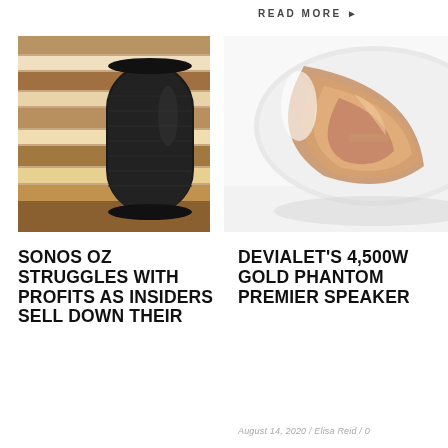READ MORE ▶
[Figure (photo): Black cylindrical Sonos speaker on wooden shelves background]
[Figure (photo): Devialet white and rose gold Phantom speaker close-up on white background]
SONOS OZ STRUGGLES WITH PROFITS AS INSIDERS SELL DOWN THEIR
DEVIALET'S 4,500W GOLD PHANTOM PREMIER SPEAKER
August 14, 2020 / Elisa Reid / 0